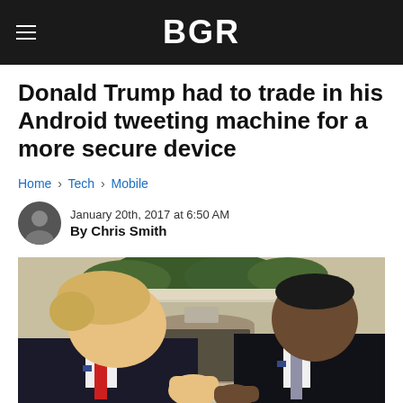BGR
Donald Trump had to trade in his Android tweeting machine for a more secure device
Home › Tech › Mobile
January 20th, 2017 at 6:50 AM
By Chris Smith
[Figure (photo): Donald Trump and Barack Obama shaking hands in what appears to be the Oval Office, with a fireplace and green plants visible in the background]